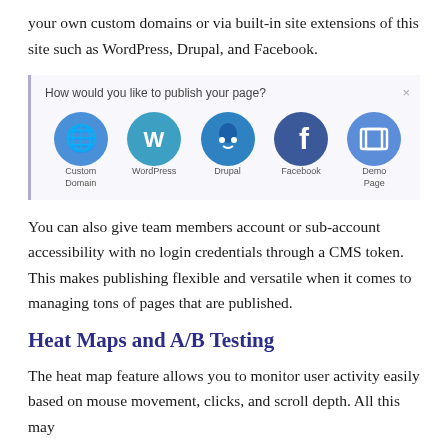your own custom domains or via built-in site extensions of this site such as WordPress, Drupal, and Facebook.
[Figure (screenshot): A dialog box asking 'How would you like to publish your page?' with icons for Custom Domain, WordPress, Drupal, Facebook, and Demo Page.]
You can also give team members account or sub-account accessibility with no login credentials through a CMS token. This makes publishing flexible and versatile when it comes to managing tons of pages that are published.
Heat Maps and A/B Testing
The heat map feature allows you to monitor user activity easily based on mouse movement, clicks, and scroll depth. All this may